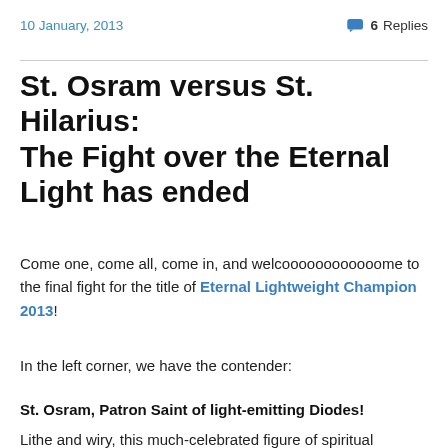10 January, 2013   6 Replies
St. Osram versus St. Hilarius: The Fight over the Eternal Light has ended
Come one, come all, come in, and welcoooooooooooome to the final fight for the title of Eternal Lightweight Champion 2013!
In the left corner, we have the contender:
St. Osram, Patron Saint of light-emitting Diodes!
Lithe and wiry, this much-celebrated figure of spiritual